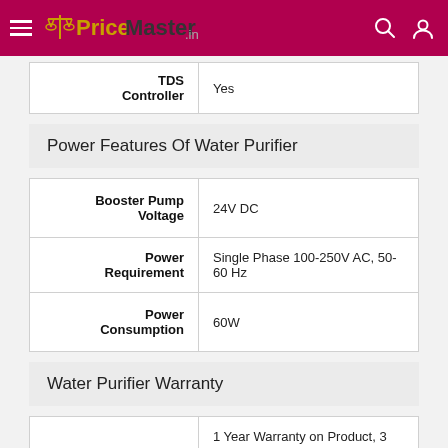PriceMaster.in
| TDS Controller | Yes |
| --- | --- |
Power Features Of Water Purifier
| Booster Pump Voltage | 24V DC |
| --- | --- |
| Power Requirement | Single Phase 100-250V AC, 50-60 Hz |
| Power Consumption | 60W |
Water Purifier Warranty
|  | 1 Year Warranty on Product, 3 |